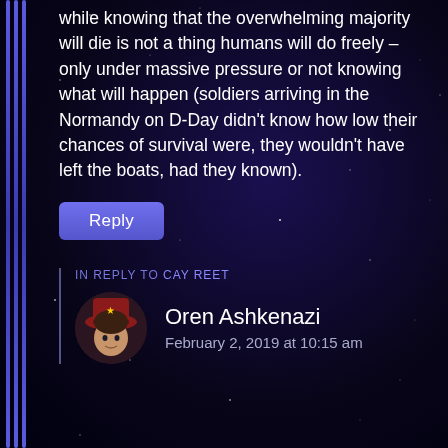while knowing that the overwhelming majority will die is not a thing humans will do freely – only under massive pressure or not knowing what will happen (soldiers arriving in the Normandy on D-Day didn't know how low their chances of survival were, they wouldn't have left the boats, had they known).
Reply
IN REPLY TO CAY REET
Oren Ashkenazi
February 2, 2019 at 10:15 am